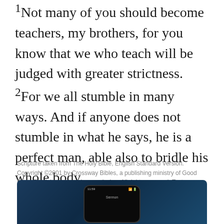1Not many of you should become teachers, my brothers, for you know that we who teach will be judged with greater strictness. 2For we all stumble in many ways. And if anyone does not stumble in what he says, he is a perfect man, able also to bridle his whole body.
EXPAND CHAPTER
Scripture taken from The Holy Bible, English Standard Version. Copyright ©2001 by Crossway Bibles, a publishing ministry of Good News Publishers. Used by permission. All rights reserved. Text provided by the Crossway Bibles Web Service.
[Figure (screenshot): Partial screenshot of a phone showing a dark blue background with a smartphone displaying a screen labeled 'Sermon']